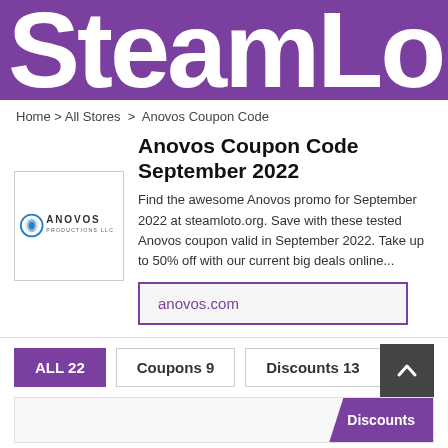SteamLo
Home > All Stores > Anovos Coupon Code
Anovos Coupon Code September 2022
[Figure (logo): Anovos Productions LLC logo — circular emblem with text ANOVOS in teal/blue, subtitle PRODUCTIONS LLC]
Find the awesome Anovos promo for September 2022 at steamloto.org. Save with these tested Anovos coupon valid in September 2022. Take up to 50% off with our current big deals online...
anovos.com
ALL 22
Coupons 9
Discounts 13
Discounts